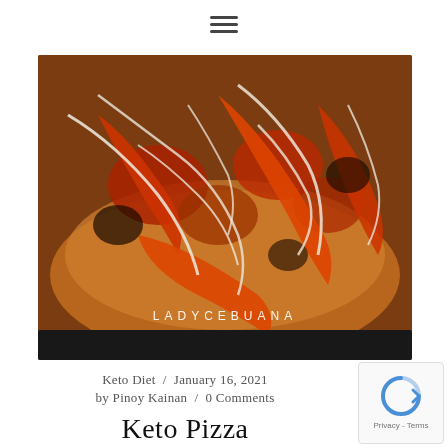≡
[Figure (photo): Close-up photo of a keto pizza in a cast iron skillet, topped with red bell peppers, melted mozzarella cheese, tomato sauce, and mushrooms. The pizza crust appears golden and crispy. A watermark reads LADYCEBUANA at the bottom.]
Keto Diet / January 16, 2021
by Pinoy Kainan / 0 Comments
Keto Pizza